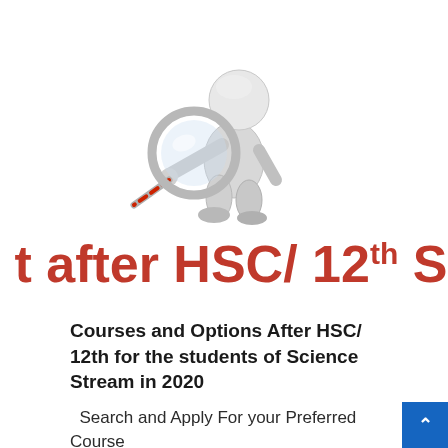[Figure (illustration): 3D white cartoon figure character holding a large magnifying glass, leaning forward to look through it]
t after HSC/ 12th Science
Courses and Options After HSC/ 12th for the students of Science Stream in 2020
Search and Apply For your Preferred Course Today S P College Pune Course Name Fee